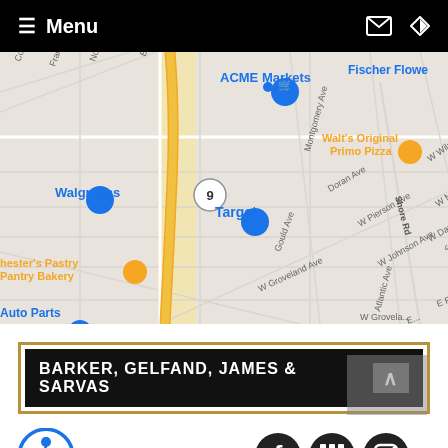≡ Menu
[Figure (map): Google Maps screenshot showing area around Barker Gelfand James & Sarvas law firm office, featuring landmarks such as ACME Markets, Walgreens, Target, Walt's Original Primo Pizza, Fischer Flowers, Chester's Pastry Pantry Bakery, Auto Parts, and street names including W Groveland Ave, Gould Ave, W Johnson Ave, Shore Rd, W Pierson Ave, Montgomery Ave, W Meyran Ave, W Dawes Ave.]
[Figure (logo): Law firm logo: BARKER, GELFAND, JAMES & SARVAS with gold border and white chevron on black background]
[Figure (infographic): Accessibility symbol (blue circle with wheelchair user icon), followed by social media icons: Facebook, columns/Justia, Instagram/square]
FOR A CONSULTATION PLEASE CALL